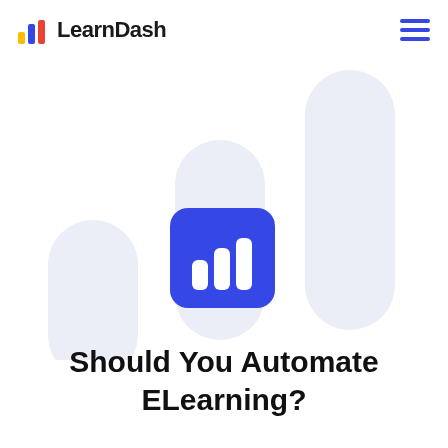[Figure (logo): LearnDash logo with bar chart icon in blue, yellow, red colors and wordmark LearnDash in dark text]
[Figure (illustration): Three large rounded pill/column shapes in light blue-grey color arranged at different heights as decorative background, with a blue rounded square icon containing a white bar chart symbol in the center]
Should You Automate ELearning?